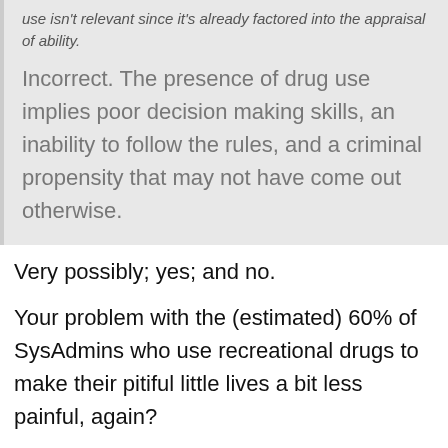use isn't relevant since it's already factored into the appraisal of ability.
Incorrect. The presence of drug use implies poor decision making skills, an inability to follow the rules, and a criminal propensity that may not have come out otherwise.
Very possibly; yes; and no.
Your problem with the (estimated) 60% of SysAdmins who use recreational drugs to make their pitiful little lives a bit less painful, again?
Vlad Patryshev (unregistered)
2008-06-18
Yes, this is the way we Russian say